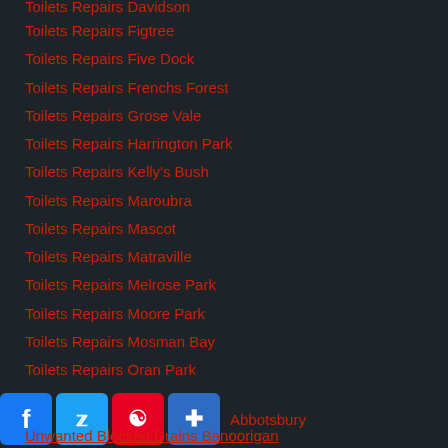Toilets Repairs Davidson
Toilets Repairs Figtree
Toilets Repairs Five Dock
Toilets Repairs Frenchs Forest
Toilets Repairs Grose Vale
Toilets Repairs Harrington Park
Toilets Repairs Kelly's Bush
Toilets Repairs Maroubra
Toilets Repairs Mascot
Toilets Repairs Matraville
Toilets Repairs Melrose Park
Toilets Repairs Moore Park
Toilets Repairs Mosman Bay
Toilets Repairs Oran Park
Toilets Repairs Pulpit Point
Toilets Repairs Putney
Toilets Repairs Rosebay
Toilets Repairs Taylors Bay
Unblocked Blocked Drains Abbotsbury
Unwanted Blocked Drains Banoorigan